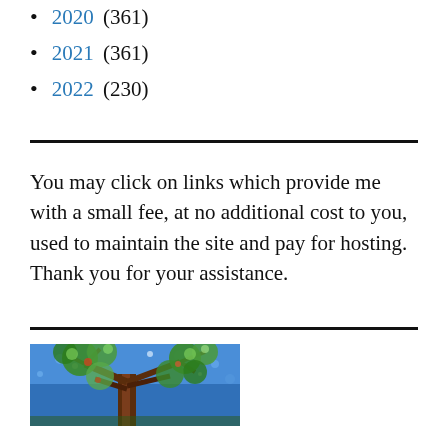2020 (361)
2021 (361)
2022 (230)
You may click on links which provide me with a small fee, at no additional cost to you, used to maintain the site and pay for hosting. Thank you for your assistance.
[Figure (illustration): Colorful painted illustration of a tree with brown trunk and branches against a blue background, with green and colorful leaves/foliage]